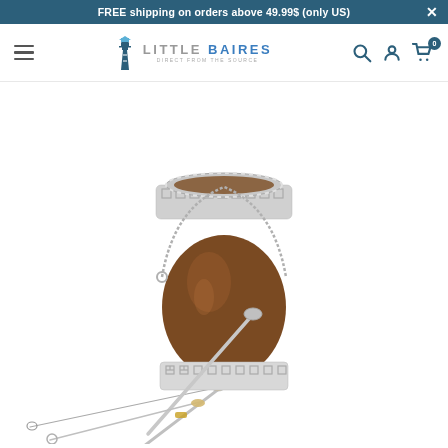FREE shipping on orders above 49.99$ (only US)
[Figure (logo): Little Baires logo with lighthouse icon and text 'DIRECT FROM THE SOURCE']
[Figure (photo): A mate gourd cup with ornate silver Greek key pattern rim and base, with a metal handle, accompanied by a bombilla (metal straw/filter) and a cleaning brush, on white background]